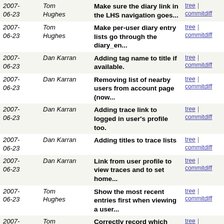| Date | Author | Message | Links |
| --- | --- | --- | --- |
| 2007-06-23 | Tom Hughes | Make sure the diary link in the LHS navigation goes... | tree | commitdiff |
| 2007-06-23 | Tom Hughes | Make per-user diary entry lists go through the diary_en... | tree | commitdiff |
| 2007-06-23 | Dan Karran | Adding tag name to title if available. | tree | commitdiff |
| 2007-06-23 | Dan Karran | Removing list of nearby users from account page (now... | tree | commitdiff |
| 2007-06-23 | Dan Karran | Adding trace link to logged in user's profile too. | tree | commitdiff |
| 2007-06-23 | Dan Karran | Adding titles to trace lists | tree | commitdiff |
| 2007-06-23 | Dan Karran | Link from user profile to view traces and to set home... | tree | commitdiff |
| 2007-06-23 | Tom Hughes | Show the most recent entries first when viewing a user... | tree | commitdiff |
| 2007-06-22 | Tom Hughes | Correctly record which user deleted an object. | tree | commitdiff |
| 2007-06-22 | Tom Hughes | Fill in the visible flag correctly when updating the... | tree | commitdiff |
| 2007-06-21 | Tom Hughes | Avoid reading traces and trace images into memory when... | tree | commitdiff |
| 2007-06-21 | Tom Hughes | Add support for segment/:id/ways and node/:id/segments... | tree | commitdiff |
| 2007-06-21 | Tom Hughes | Only treat a user as logged in if the user object has... | tree | commitdiff |